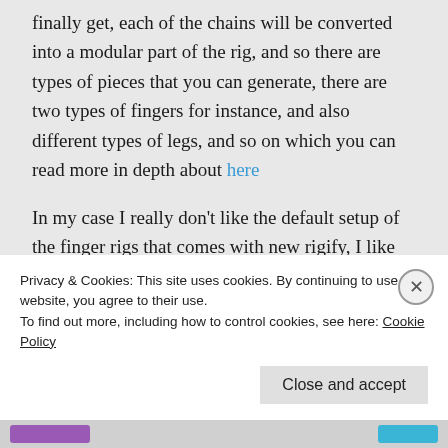finally get, each of the chains will be converted into a modular part of the rig, and so there are types of pieces that you can generate, there are two types of fingers for instance, and also different types of legs, and so on which you can read more in depth about here
In my case I really don't like the default setup of the finger rigs that comes with new rigify, I like the old one, the one with a little stick for curling, and then rings to tweak each phalange, so I'll go
Privacy & Cookies: This site uses cookies. By continuing to use this website, you agree to their use.
To find out more, including how to control cookies, see here: Cookie Policy
Close and accept